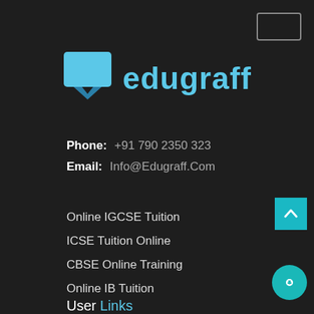[Figure (logo): Edugraff logo: light blue bookmark/speech-bubble icon on left, text 'edugraff' in light blue on right]
Phone:  +91 790 2350 323
Email:  Info@Edugraff.Com
Online IGCSE Tuition
ICSE Tuition Online
CBSE Online Training
Online IB Tuition
User Links